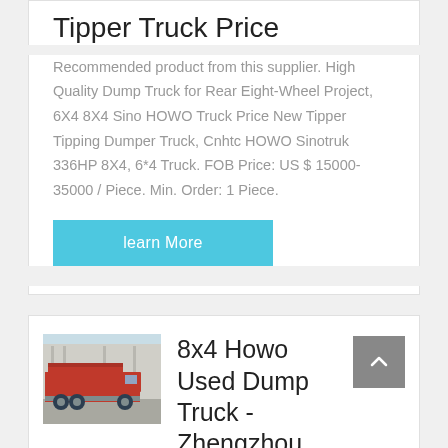Tipper Truck Price
Recommended product from this supplier. High Quality Dump Truck for Rear Eight-Wheel Project, 6X4 8X4 Sino HOWO Truck Price New Tipper Tipping Dumper Truck, Cnhtc HOWO Sinotruk 336HP 8X4, 6*4 Truck. FOB Price: US $ 15000-35000 / Piece. Min. Order: 1 Piece.
learn More
[Figure (photo): Red dump truck (8x4 Howo) parked in front of a building]
8x4 Howo Used Dump Truck - Zhengzhou Huiho